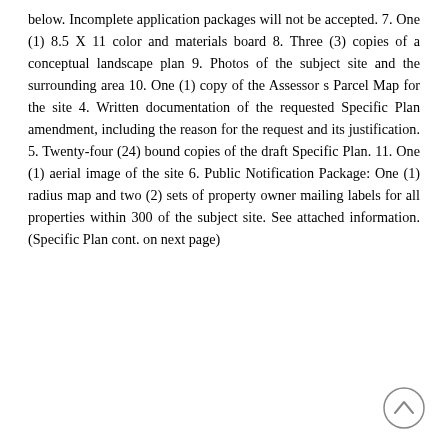below. Incomplete application packages will not be accepted. 7. One (1) 8.5 X 11 color and materials board 8. Three (3) copies of a conceptual landscape plan 9. Photos of the subject site and the surrounding area 10. One (1) copy of the Assessor s Parcel Map for the site 4. Written documentation of the requested Specific Plan amendment, including the reason for the request and its justification. 5. Twenty-four (24) bound copies of the draft Specific Plan. 11. One (1) aerial image of the site 6. Public Notification Package: One (1) radius map and two (2) sets of property owner mailing labels for all properties within 300 of the subject site. See attached information. (Specific Plan cont. on next page)